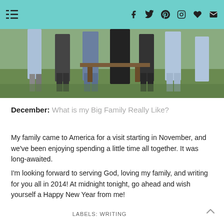Navigation and social icons bar
[Figure (photo): Photo showing legs/lower bodies of several people standing outdoors on grass, some wearing jeans and one wearing a black dress]
December: What is my Big Family Really Like?
My family came to America for a visit starting in November, and we've been enjoying spending a little time all together. It was long-awaited.
I'm looking forward to serving God, loving my family, and writing for you all in 2014! At midnight tonight, go ahead and wish yourself a Happy New Year from me!
LABELS: WRITING